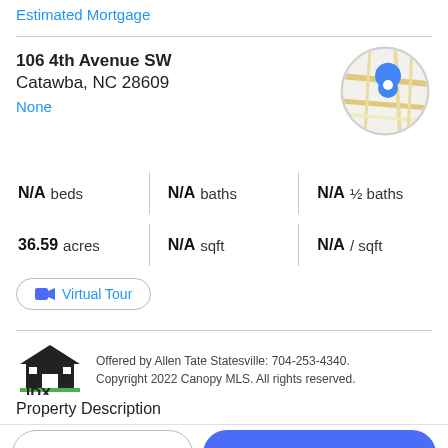Estimated Mortgage
106 4th Avenue SW
Catawba, NC 28609
None
[Figure (map): Circular Google Maps thumbnail showing a street map with a blue location pin marker]
| N/A beds | N/A baths | N/A ½ baths |
| 36.59 acres | N/A sqft | N/A / sqft |
Virtual Tour
[Figure (logo): IDX house logo with black silhouette of a house and IDX text]
Offered by Allen Tate Statesville: 704-253-4340. Copyright 2022 Canopy MLS. All rights reserved.
Property Description
Take a Tour
Ask A Question